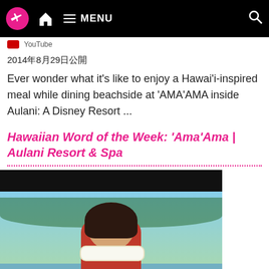MENU (navigation bar with plane icon, home icon, menu, search)
YouTube
2014年8月29日公開
Ever wonder what it's like to enjoy a Hawai'i-inspired meal while dining beachside at 'AMA'AMA inside Aulani: A Disney Resort ...
Hawaiian Word of the Week: 'Ama'Ama | Aulani Resort & Spa
[Figure (screenshot): Video thumbnail showing a young woman in a red Hawaiian dress with a flower lei, smiling outdoors at what appears to be Aulani Resort with palm trees and water in the background. A Disney logo badge is in the lower left. Video has black bars top and bottom.]